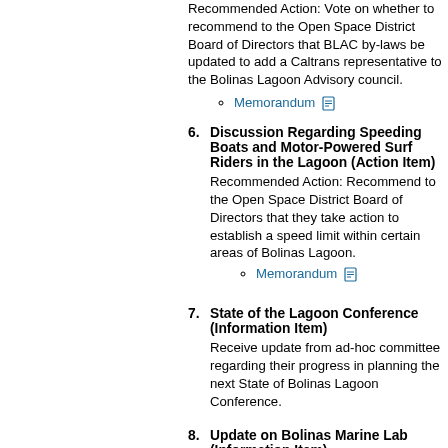Recommended Action: Vote on whether to recommend to the Open Space District Board of Directors that BLAC by-laws be updated to add a Caltrans representative to the Bolinas Lagoon Advisory council.
Memorandum
6. Discussion Regarding Speeding Boats and Motor-Powered Surf Riders in the Lagoon (Action Item) Recommended Action: Recommend to the Open Space District Board of Directors that they take action to establish a speed limit within certain areas of Bolinas Lagoon.
Memorandum
7. State of the Lagoon Conference (Information Item) Receive update from ad-hoc committee regarding their progress in planning the next State of Bolinas Lagoon Conference.
8. Update on Bolinas Marine Lab (Information Item) Update from Joe Mueller regarding the status of the Bolinas Marine Lab property.
9. Update on Caltrans Culvert Cleanout and Maintenance on State Route 1 (Information Item) Update on recently started Caltrans project